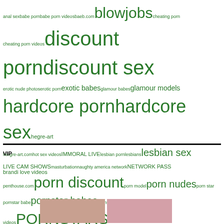[Figure (infographic): Tag cloud of adult website keywords in varying green font sizes]
VIP
brandi love videos
[Figure (photo): Two thumbnail images at bottom of page]